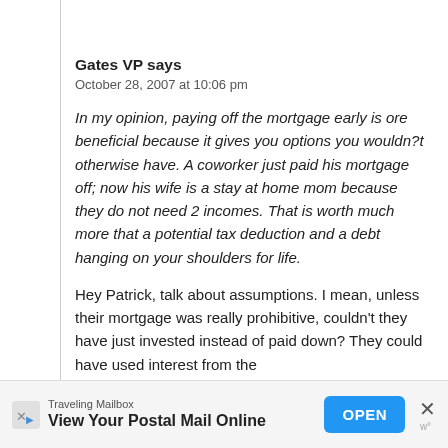Gates VP says
October 28, 2007 at 10:06 pm
In my opinion, paying off the mortgage early is ore beneficial because it gives you options you wouldn?t otherwise have. A coworker just paid his mortgage off; now his wife is a stay at home mom because they do not need 2 incomes. That is worth much more that a potential tax deduction and a debt hanging on your shoulders for life.
Hey Patrick, talk about assumptions. I mean, unless their mortgage was really prohibitive, couldn’t they have just invested instead of paid down? They could have used interest from the
Traveling Mailbox
View Your Postal Mail Online
OPEN